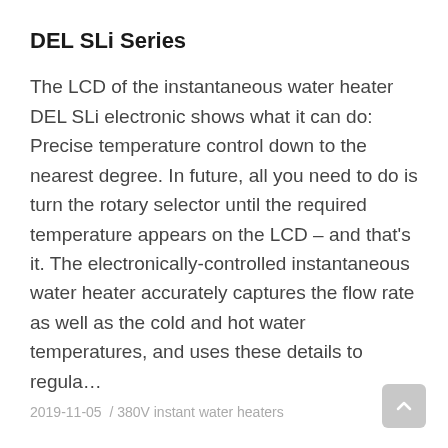DEL SLi Series
The LCD of the instantaneous water heater DEL SLi electronic shows what it can do: Precise temperature control down to the nearest degree. In future, all you need to do is turn the rotary selector until the required temperature appears on the LCD – and that's it. The electronically-controlled instantaneous water heater accurately captures the flow rate as well as the cold and hot water temperatures, and uses these details to regula…
2019-11-05  /  380V instant water heaters